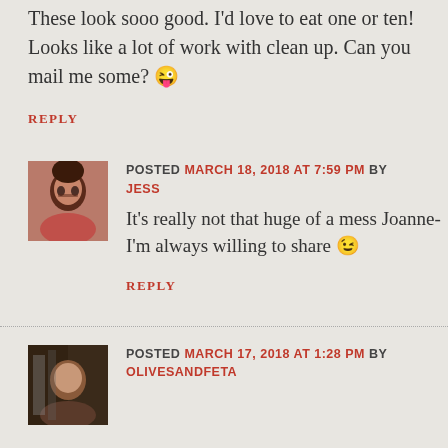These look sooo good. I'd love to eat one or ten! Looks like a lot of work with clean up. Can you mail me some? 😜
REPLY
POSTED MARCH 18, 2018 AT 7:59 PM BY JESS
It's really not that huge of a mess Joanne-I'm always willing to share 😉
REPLY
POSTED MARCH 17, 2018 AT 1:28 PM BY OLIVESANDFETA